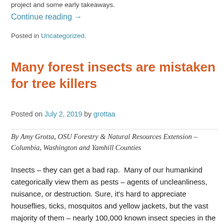project and some early takeaways.
Continue reading →
Posted in Uncategorized.
Many forest insects are mistaken for tree killers
Posted on July 2, 2019 by grottaa
By Amy Grotta, OSU Forestry & Natural Resources Extension – Columbia, Washington and Yamhill Counties
Insects – they can get a bad rap. Many of our humankind categorically view them as pests – agents of uncleanliness, nuisance, or destruction. Sure, it's hard to appreciate houseflies, ticks, mosquitos and yellow jackets, but the vast majority of them – nearly 100,000 known insect species in the U.S. alone –are simply going